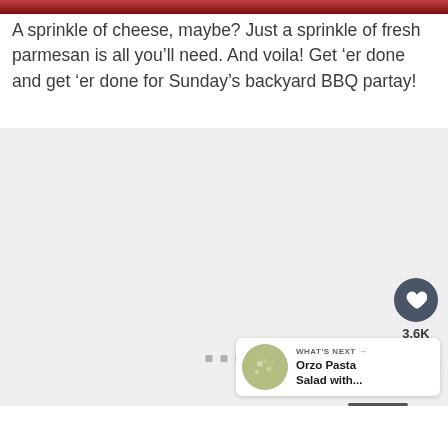[Figure (photo): Partial view of food photo at the top of the page, showing a red/dark background (cropped)]
A sprinkle of cheese, maybe? Just a sprinkle of fresh parmesan is all you’ll need. And voila! Get ‘er done and get ‘er done for Sunday’s backyard BBQ partay!
[Figure (photo): Large image placeholder area with light gray background and three small gray square dots indicating an image carousel or slideshow]
[Figure (infographic): What’s Next panel showing a circular thumbnail of Orzo Pasta Salad with... text and arrow, with heart/share buttons on the side]